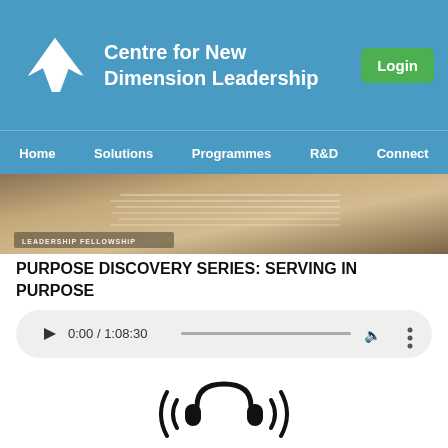Centre for New Dimension Leadership
[Figure (logo): Centre for New Dimension Leadership logo with white bird/arrow icon on blue background and Login button]
[Figure (photo): Photo of person reading an open book/Bible on wooden surface with LEADERSHIP FELLOWSHIP text overlay]
PURPOSE DISCOVERY SERIES: SERVING IN PURPOSE
[Figure (other): Audio player showing 0:00 / 1:08:30 with play button, progress bar, volume and more options]
[Figure (illustration): Podcast/audio headphones icon with sound waves radiating outward]
Download Now
57.22 MB
[Figure (photo): Partial photo visible at bottom of page with green/nature background]